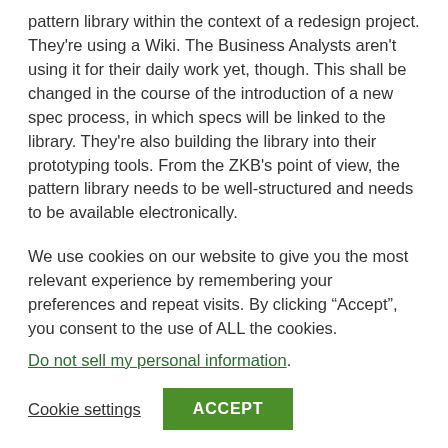pattern library within the context of a redesign project. They're using a Wiki. The Business Analysts aren't using it for their daily work yet, though. This shall be changed in the course of the introduction of a new spec process, in which specs will be linked to the library. They're also building the library into their prototyping tools. From the ZKB's point of view, the pattern library needs to be well-structured and needs to be available electronically.
Daniel Felix jumped in as the advocatus diaboli and pulled out
We use cookies on our website to give you the most relevant experience by remembering your preferences and repeat visits. By clicking “Accept”, you consent to the use of ALL the cookies. Do not sell my personal information.
Cookie settings
ACCEPT